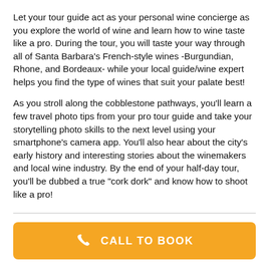Let your tour guide act as your personal wine concierge as you explore the world of wine and learn how to wine taste like a pro. During the tour, you will taste your way through all of Santa Barbara's French-style wines -Burgundian, Rhone, and Bordeaux- while your local guide/wine expert helps you find the type of wines that suit your palate best!
As you stroll along the cobblestone pathways, you'll learn a few travel photo tips from your pro tour guide and take your storytelling photo skills to the next level using your smartphone's camera app. You'll also hear about the city's early history and interesting stories about the winemakers and local wine industry. By the end of your half-day tour, you'll be dubbed a true "cork dork" and know how to shoot like a pro!
[Figure (other): Orange call-to-book button with phone icon and text CALL TO BOOK]